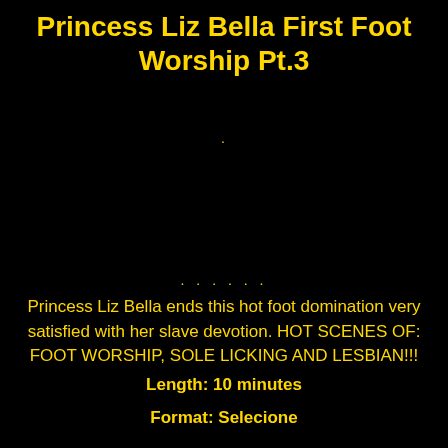Princess Liz Bella First Foot Worship Pt.3
.
. . . . . .
Princess Liz Bella ends this hot foot domination very satisfied with her slave devotion. HOT SCENES OF: FOOT WORSHIP, SOLE LICKING AND LESBIAN!!!
Length: 10 minutes
Format: Selecione